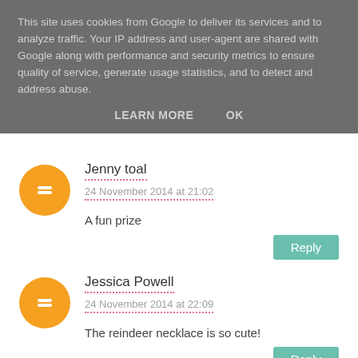This site uses cookies from Google to deliver its services and to analyze traffic. Your IP address and user-agent are shared with Google along with performance and security metrics to ensure quality of service, generate usage statistics, and to detect and address abuse.
LEARN MORE   OK
Jenny toal
24 November 2014 at 21:02
A fun prize
Reply
Jessica Powell
24 November 2014 at 22:09
The reindeer necklace is so cute!
Reply
Anonymous